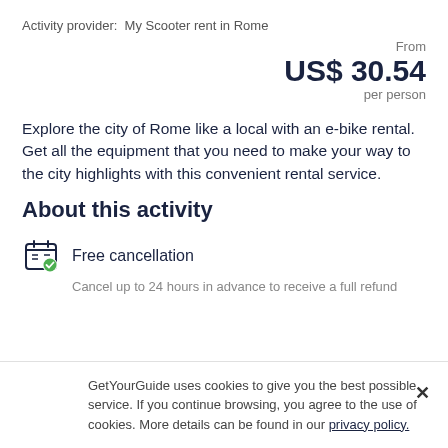Activity provider:  My Scooter rent in Rome
From
US$ 30.54
per person
Explore the city of Rome like a local with an e-bike rental. Get all the equipment that you need to make your way to the city highlights with this convenient rental service.
About this activity
Free cancellation
Cancel up to 24 hours in advance to receive a full refund
GetYourGuide uses cookies to give you the best possible service. If you continue browsing, you agree to the use of cookies. More details can be found in our privacy policy.